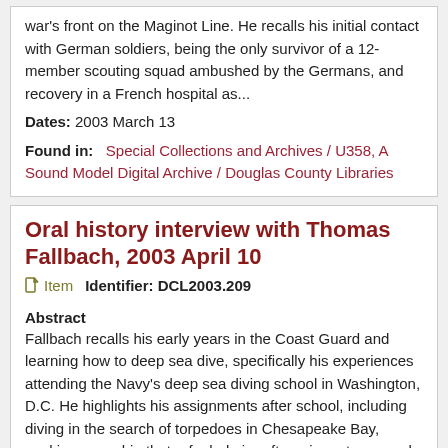war's front on the Maginot Line. He recalls his initial contact with German soldiers, being the only survivor of a 12-member scouting squad ambushed by the Germans, and recovery in a French hospital as...
Dates: 2003 March 13
Found in: Special Collections and Archives / U358, A Sound Model Digital Archive / Douglas County Libraries
Oral history interview with Thomas Fallbach, 2003 April 10
Item  Identifier: DCL2003.209
Abstract
Fallbach recalls his early years in the Coast Guard and learning how to deep sea dive, specifically his experiences attending the Navy's deep sea diving school in Washington, D.C. He highlights his assignments after school, including diving in the search of torpedoes in Chesapeake Bay, working on a ship that refueled aircraft carriers at sea, and his assignment as a member of the crew on the...